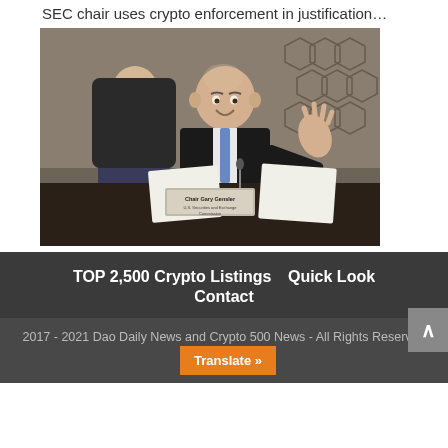SEC chair uses crypto enforcement in justification…
[Figure (photo): Photo of SEC Chair Gary Gensler seated at a congressional hearing table, gesturing with his hand. A nameplate reads 'Chair Gary Gensler, U.S. Securities and Exchange Commission'. Another person is visible seated behind him.]
TOP 2,500 Crypto Listings   Quick Look   Contact
2017 - 2021 Dao Daily News and Crypto 500 News - All Rights Reserved